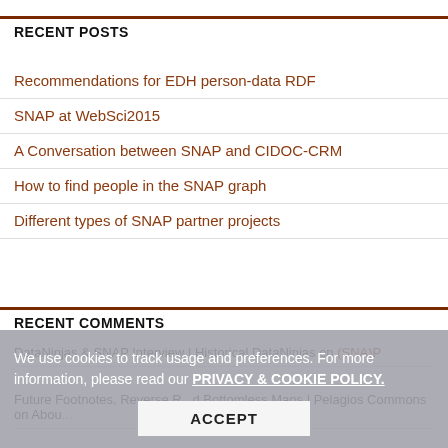RECENT POSTS
Recommendations for EDH person-data RDF
SNAP at WebSci2015
A Conversation between SNAP and CIDOC-CRM
How to find people in the SNAP graph
Different types of SNAP partner projects
RECENT COMMENTS
DataNinjas & SNAP Interview | Historical DataNinjas on (SNA)P
Future Footnotes, Reverse R... Bottomless Maps | Pelagios Commons on Abou...
We use cookies to track usage and preferences. For more information, please read our PRIVACY & COOKIE POLICY.
ACCEPT